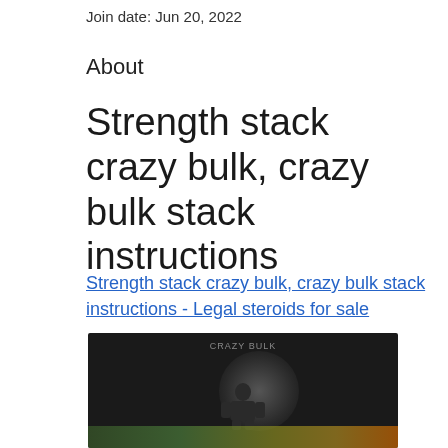Join date: Jun 20, 2022
About
Strength stack crazy bulk, crazy bulk stack instructions
Strength stack crazy bulk, crazy bulk stack instructions - Legal steroids for sale
[Figure (photo): Dark blurred product or fitness related photo with a silhouette figure and colorful bottom bar]